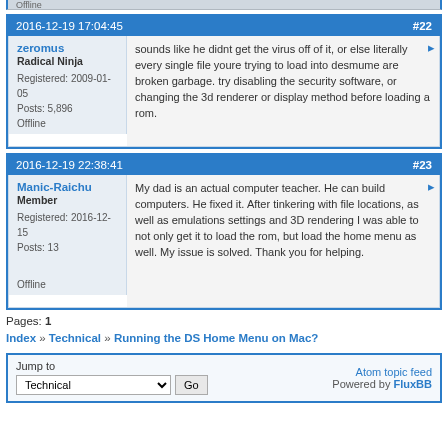Offline
2016-12-19 17:04:45  #22
zeromus
Radical Ninja
Registered: 2009-01-05
Posts: 5,896
Offline
sounds like he didnt get the virus off of it, or else literally every single file youre trying to load into desmume are broken garbage. try disabling the security software, or changing the 3d renderer or display method before loading a rom.
2016-12-19 22:38:41  #23
Manic-Raichu
Member
Registered: 2016-12-15
Posts: 13
Offline
My dad is an actual computer teacher. He can build computers. He fixed it. After tinkering with file locations, as well as emulations settings and 3D rendering I was able to not only get it to load the rom, but load the home menu as well. My issue is solved. Thank you for helping.
Pages: 1
Index » Technical » Running the DS Home Menu on Mac?
Jump to
Technical  Go
Atom topic feed
Powered by FluxBB